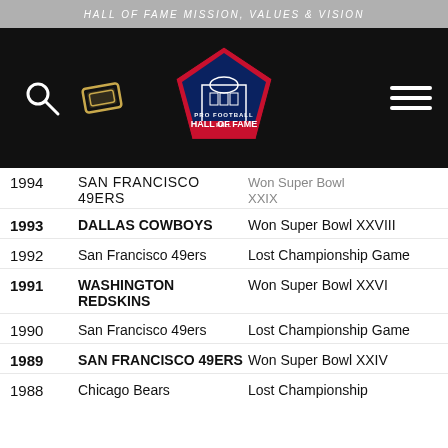HALL OF FAME MISSION, VALUES & VISION
[Figure (logo): Pro Football Hall of Fame logo with navigation bar (search icon, ticket icon, hamburger menu icon)]
1994  SAN FRANCISCO 49ERS  Won Super Bowl XXIX (partial)
1993  DALLAS COWBOYS  Won Super Bowl XXVIII
1992  San Francisco 49ers  Lost Championship Game
1991  WASHINGTON REDSKINS  Won Super Bowl XXVI
1990  San Francisco 49ers  Lost Championship Game
1989  SAN FRANCISCO 49ERS  Won Super Bowl XXIV
1988  Chicago Bears  Lost Championship